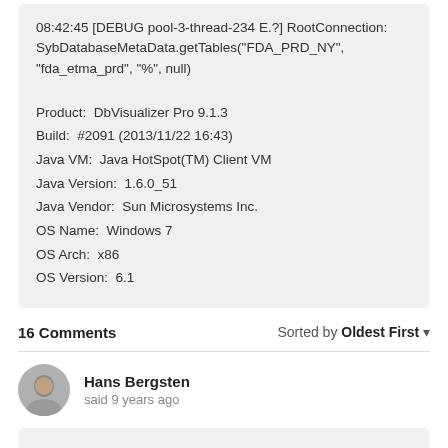08:42:45 [DEBUG pool-3-thread-234 E.?] RootConnection: SybDatabaseMetaData.getTables("FDA_PRD_NY", "fda_etma_prd", "%", null)
Product:  DbVisualizer Pro 9.1.3
Build:  #2091 (2013/11/22 16:43)
Java VM:  Java HotSpot(TM) Client VM
Java Version:  1.6.0_51
Java Vendor:  Sun Microsystems Inc.
OS Name:  Windows 7
OS Arch:  x86
OS Version:  6.1
16 Comments
Sorted by Oldest First
Hans Bergsten
said 9 years ago